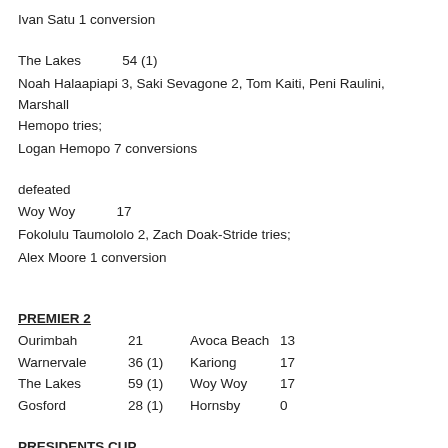Ivan Satu 1 conversion
The Lakes          54 (1)
Noah Halaapiapi 3, Saki Sevagone 2, Tom Kaiti, Peni Raulini, Marshall Hemopo tries;
Logan Hemopo 7 conversions
defeated
Woy Woy          17
Fokolulu Taumololo 2, Zach Doak-Stride tries;
Alex Moore 1 conversion
PREMIER 2
| Team | Score | Opponent | Score |
| --- | --- | --- | --- |
| Ourimbah | 21 | Avoca Beach | 13 |
| Warnervale | 36 (1) | Kariong | 17 |
| The Lakes | 59 (1) | Woy Woy | 17 |
| Gosford | 28 (1) | Hornsby | 0 |
PRESIDENTS CUP